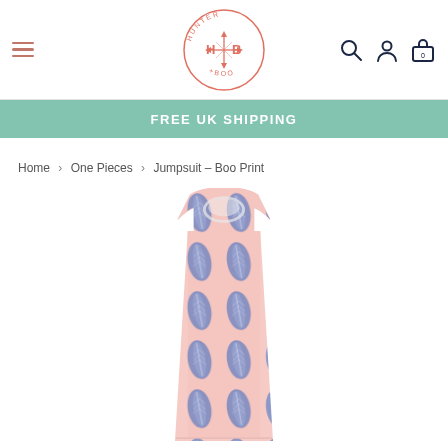[Figure (logo): Hunter + Boo circular logo with arrows and letters H and B in salmon/coral color]
FREE UK SHIPPING
Home > One Pieces > Jumpsuit - Boo Print
[Figure (photo): A sleeveless children's jumpsuit with blue feather/leaf print on a pale pink background]